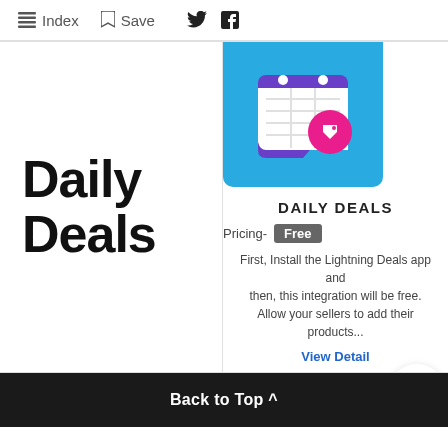Index  Save
Daily Deals
[Figure (screenshot): Daily Deals app card with blue icon showing a calendar with a price tag, titled DAILY DEALS, pricing Free badge, description text, View Detail link, and ENABLE button with notification bell icon]
Back to Top ^